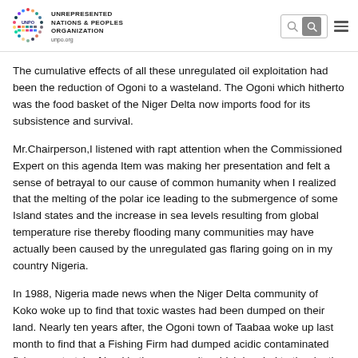UNREPRESENTED NATIONS & PEOPLES ORGANIZATION unpo.org
The cumulative effects of all these unregulated oil exploitation had been the reduction of Ogoni to a wasteland. The Ogoni which hitherto was the food basket of the Niger Delta now imports food for its subsistence and survival.
Mr.Chairperson,I listened with rapt attention when the Commissioned Expert on this agenda Item was making her presentation and felt a sense of betrayal to our cause of common humanity when I realized that the melting of the polar ice leading to the submergence of some Island states and the increase in sea levels resulting from global temperature rise thereby flooding many communities may have actually been caused by the unregulated gas flaring going on in my country Nigeria.
In 1988, Nigeria made news when the Niger Delta community of Koko woke up to find that toxic wastes had been dumped on their land. Nearly ten years after, the Ogoni town of Taabaa woke up last month to find that a Fishing Firm had dumped acidic contaminated fish on a stretch of land in the community which has led to the death